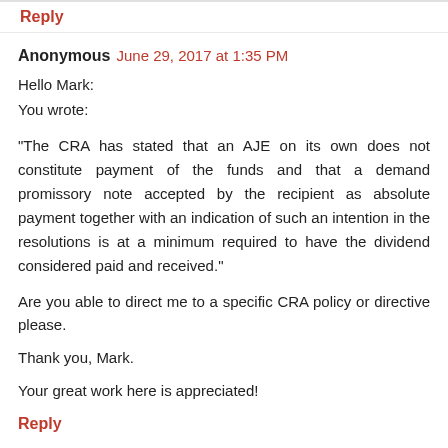Reply
Anonymous  June 29, 2017 at 1:35 PM
Hello Mark:
You wrote:
"The CRA has stated that an AJE on its own does not constitute payment of the funds and that a demand promissory note accepted by the recipient as absolute payment together with an indication of such an intention in the resolutions is at a minimum required to have the dividend considered paid and received."
Are you able to direct me to a specific CRA policy or directive please.
Thank you, Mark.
Your great work here is appreciated!
Reply